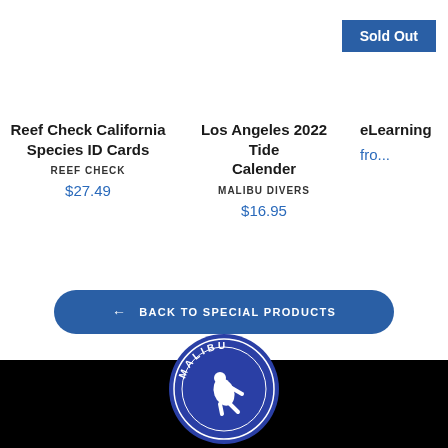Sold Out
Reef Check California Species ID Cards
REEF CHECK
$27.49
Los Angeles 2022 Tide Calender
MALIBU DIVERS
$16.95
eLearning
fro...
← BACK TO SPECIAL PRODUCTS
[Figure (logo): Malibu Divers circular logo with diver silhouette and MALIBU text arc on blue background]